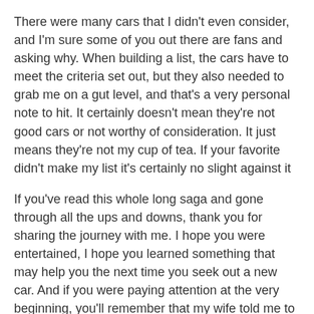There were many cars that I didn't even consider, and I'm sure some of you out there are fans and asking why. When building a list, the cars have to meet the criteria set out, but they also needed to grab me on a gut level, and that's a very personal note to hit. It certainly doesn't mean they're not good cars or not worthy of consideration. It just means they're not my cup of tea. If your favorite didn't make my list it's certainly no slight against it
If you've read this whole long saga and gone through all the ups and downs, thank you for sharing the journey with me. I hope you were entertained, I hope you learned something that may help you the next time you seek out a new car. And if you were paying attention at the very beginning, you'll remember that my wife told me to just buy the Mazda 3 to begin with. I could have saved myself a whole lot of time, trouble, and grief if I just listened to her in the first place. Don't tell her I said that.
LINKS
Buying a New Car, Part 3: The Negotiation